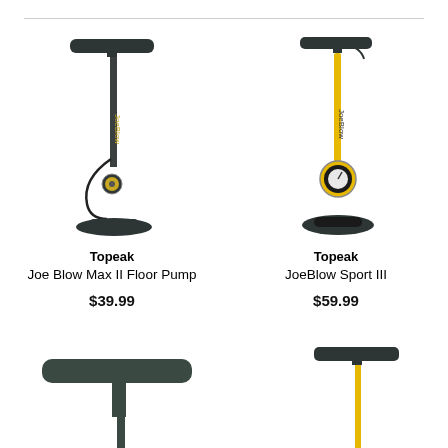[Figure (photo): Topeak Joe Blow Max II Floor Pump - black floor pump with T-handle and pressure gauge]
Topeak
Joe Blow Max II Floor Pump
$39.99
[Figure (photo): Topeak JoeBlow Sport III - yellow and black floor pump with T-handle and large pressure gauge]
Topeak
JoeBlow Sport III
$59.99
[Figure (photo): Topeak floor pump - partial view showing top T-handle, dark grey/green color]
[Figure (photo): Topeak floor pump - partial view showing top T-handle, dark color with yellow accents]